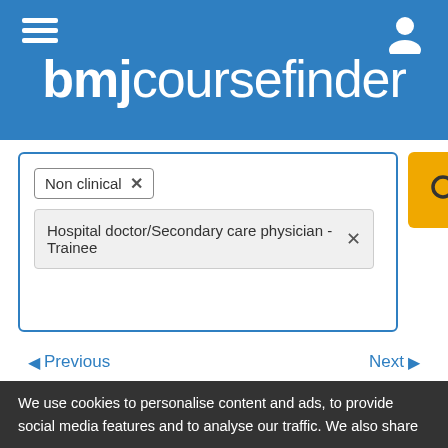[Figure (logo): BMJ Course Finder website header with hamburger menu icon and user profile icon on blue background]
Non clinical ×
Hospital doctor/Secondary care physician - Trainee ×
◄ Previous
Next ►
Training the Clinical Trainer
[Figure (logo): Royal College of ... logo (partially visible)]
We use cookies to personalise content and ads, to provide social media features and to analyse our traffic. We also share